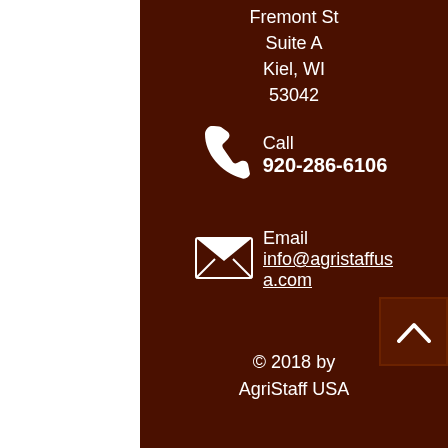Fremont St
Suite A
Kiel, WI
53042
Call
920-286-6106
Email
info@agristaffusa.com
© 2018 by AgriStaff USA